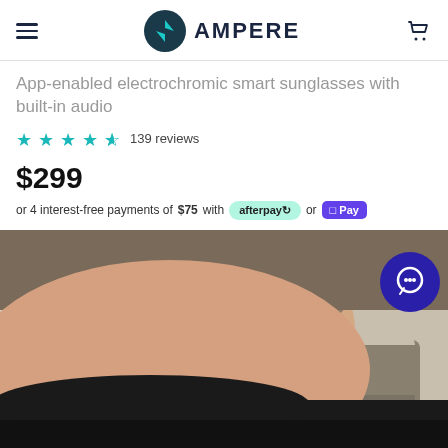AMPERE — navigation header with logo and cart
App-enabled electrochromic smart sunglasses with built-in audio
★★★★☆ 139 reviews
$299
or 4 interest-free payments of $75 with afterpay or OPay
[Figure (photo): Close-up selfie of a person wearing dark smart sunglasses outdoors near a stone building]